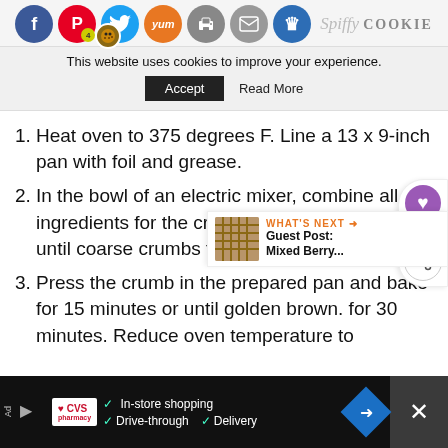Social share bar with Facebook, Pinterest, Twitter, Yummly, Print, Mail, Crown icons
This website uses cookies to improve your experience. Accept | Read More
Heat oven to 375 degrees F. Line a 13 x 9-inch pan with foil and grease.
In the bowl of an electric mixer, combine all the ingredients for the crust and mix on low speed until coarse crumbs form.
Press the crumb in the prepared pan and bake for 15 minutes or until golden brown. [cool] for 30 minutes. Reduce oven temperature to
WHAT'S NEXT → Guest Post: Mixed Berry...
Advertisement: CVS Pharmacy — In-store shopping, Drive-through, Delivery